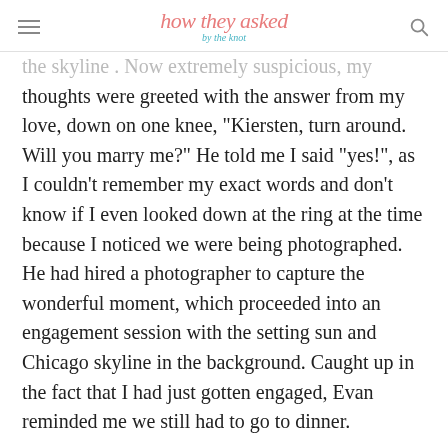how they asked by the knot
the skyline . Now extremely suspicious, my thoughts were greeted with the answer from my love, down on one knee, “Kiersten, turn around. Will you marry me?” He told me I said “yes!”, as I couldn’t remember my exact words and don’t know if I even looked down at the ring at the time because I noticed we were being photographed. He had hired a photographer to capture the wonderful moment, which proceeded into an engagement session with the setting sun and Chicago skyline in the background. Caught up in the fact that I had just gotten engaged, Evan reminded me we still had to go to dinner.